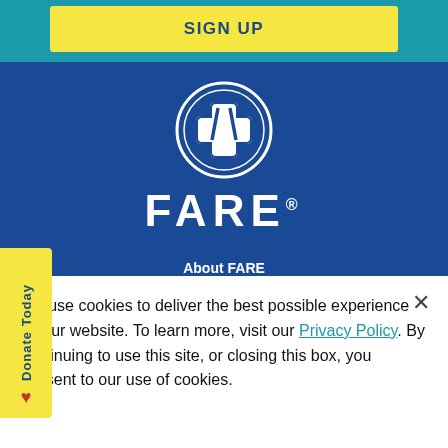SIGN UP
[Figure (logo): FARE logo: white cross with fork and knife icon inside a white circle on blue background, with the word FARE in large white letters below]
About FARE
FARE's mission is to improve the quality of life and health of those with food allergies, and to provide hope for the development of new treatments.
Donate Today
We use cookies to deliver the best possible experience on our website. To learn more, visit our Privacy Policy. By continuing to use this site, or closing this box, you consent to our use of cookies.